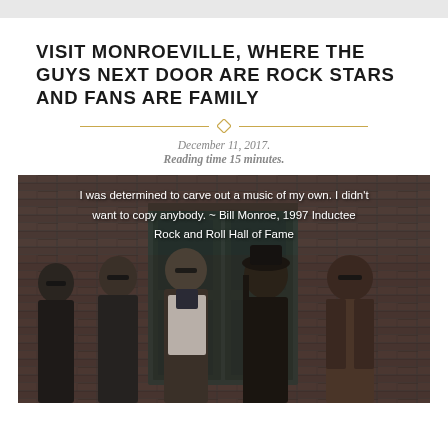VISIT MONROEVILLE, WHERE THE GUYS NEXT DOOR ARE ROCK STARS AND FANS ARE FAMILY
December 11, 2017.
Reading time 15 minutes.
[Figure (photo): Five men (a rock band) standing in front of a brick wall with a door. An overlaid quote reads: 'I was determined to carve out a music of my own. I didn't want to copy anybody. ~ Bill Monroe, 1997 Inductee Rock and Roll Hall of Fame']